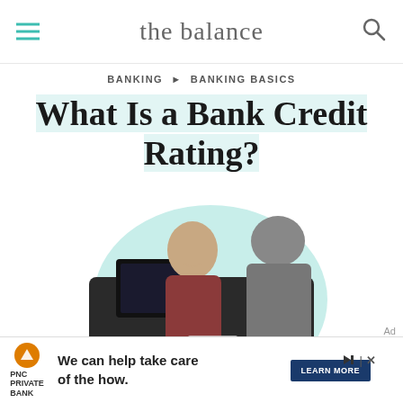the balance
BANKING ▶ BANKING BASICS
What Is a Bank Credit Rating?
[Figure (photo): A bank teller smiling at a customer across a desk, in a teal-tinted circular photo frame with play button overlay at the bottom.]
We can help take care of the how. PNC PRIVATE BANK — LEARN MORE (Ad)